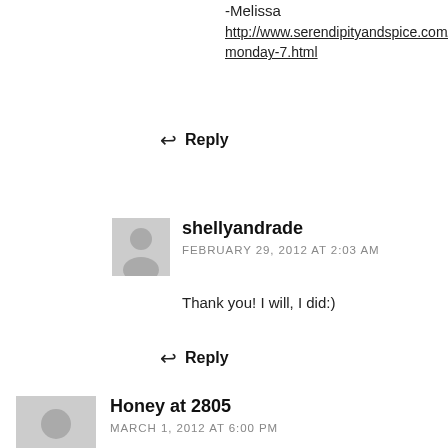-Melissa
http://www.serendipityandspice.com/2012/02/manic-monday-7.html
Reply
shellyandrade
FEBRUARY 29, 2012 AT 2:03 AM
Thank you! I will, I did:)
Reply
Honey at 2805
MARCH 1, 2012 AT 6:00 PM
Great piece, Shelly! Thanks for sharing a